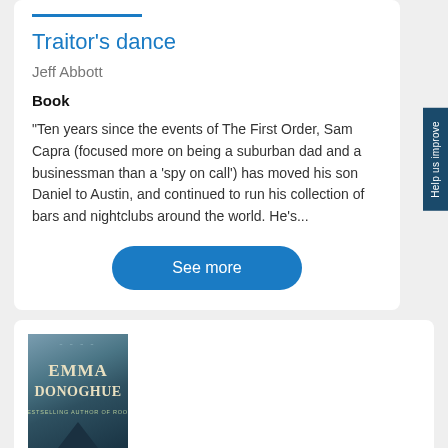Traitor's dance
Jeff Abbott
Book
"Ten years since the events of The First Order, Sam Capra (focused more on being a suburban dad and a businessman than a 'spy on call') has moved his son Daniel to Austin, and continued to run his collection of bars and nightclubs around the world. He's...
See more
[Figure (illustration): Book cover showing Emma Donoghue with text 'EMMA DONOGHUE' and 'BESTSELLING AUTHOR OF ROOM' on a dark teal background with a triangle/pyramid shape and birds]